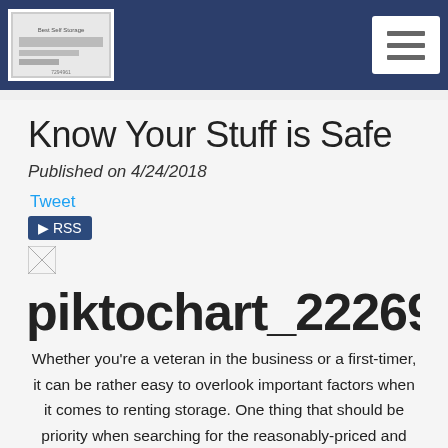Navigation bar with logo and hamburger menu
Know Your Stuff is Safe
Published on 4/24/2018
Tweet RSS
[Figure (other): Broken image placeholder]
piktochart_22269411_98cd
Whether you're a veteran in the business or a first-timer, it can be rather easy to overlook important factors when it comes to renting storage. One thing that should be priority when searching for the reasonably-priced and most conveniently located units is the security of the facility you are renting from. Of all the things that happen in daily life, it will alleviate a lot of